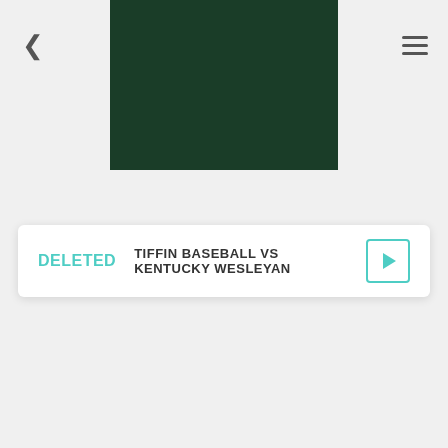[Figure (screenshot): Dark green rectangular banner/header image centered at top of page]
DELETED  TIFFIN BASEBALL VS KENTUCKY WESLEYAN